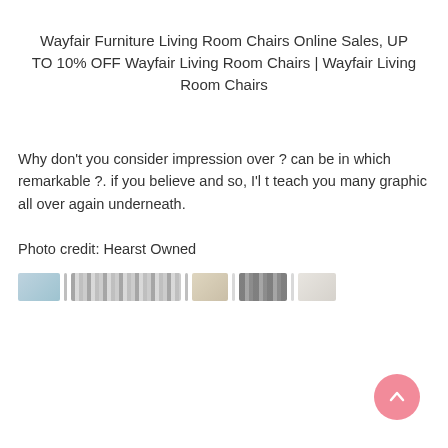Wayfair Furniture Living Room Chairs Online Sales, UP TO 10% OFF Wayfair Living Room Chairs | Wayfair Living Room Chairs
Why don't you consider impression over ? can be in which remarkable ?. if you believe and so, I'l t teach you many graphic all over again underneath.
Photo credit: Hearst Owned
[Figure (photo): A horizontal strip of blurred thumbnail images of living room chairs]
[Figure (other): Pink circular scroll-to-top button with upward chevron arrow]